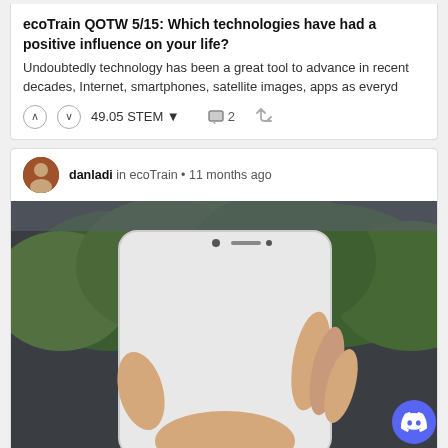ecoTrain QOTW 5/15: Which technologies have had a positive influence on your life?
Undoubtedly technology has been a great tool to advance in recent decades, Internet, smartphones, satellite images, apps as everyd
49.05 STEM  2
danladi in ecoTrain • 11 months ago
[Figure (photo): A hand holding a smartphone displaying a person walking along railroad tracks through a forest, creating an illusion that the scene extends beyond the phone screen.]